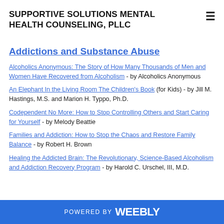SUPPORTIVE SOLUTIONS MENTAL HEALTH COUNSELING, PLLC
Addictions and Substance Abuse
Alcoholics Anonymous: The Story of How Many Thousands of Men and Women Have Recovered from Alcoholism - by Alcoholics Anonymous
An Elephant In the Living Room The Children's Book (for Kids) - by Jill M. Hastings, M.S. and Marion H. Typpo, Ph.D.
Codependent No More: How to Stop Controlling Others and Start Caring for Yourself - by Melody Beattie
Families and Addiction:  How to Stop the Chaos and Restore Family Balance - by Robert H. Brown
Healing the Addicted Brain: The Revolutionary, Science-Based Alcoholism and Addiction Recovery Program - by Harold C. Urschel, III, M.D.
POWERED BY weebly